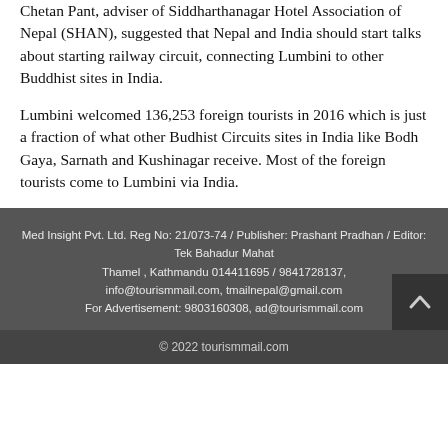Chetan Pant, adviser of Siddharthanagar Hotel Association of Nepal (SHAN), suggested that Nepal and India should start talks about starting railway circuit, connecting Lumbini to other Buddhist sites in India.
Lumbini welcomed 136,253 foreign tourists in 2016 which is just a fraction of what other Budhist Circuits sites in India like Bodh Gaya, Sarnath and Kushinagar receive. Most of the foreign tourists come to Lumbini via India.
Med Insight Pvt. Ltd. Reg No: 21/073-74 / Publisher: Prashant Pradhan / Editor: Tek Bahadur Mahat Thamel , Kathmandu 014411695 / 9841728137, info@tourismmail.com, tmailnepal@gmail.com For Advertisement: 9803160308, ad@tourismmail.com
© 2022 tourismmail.com